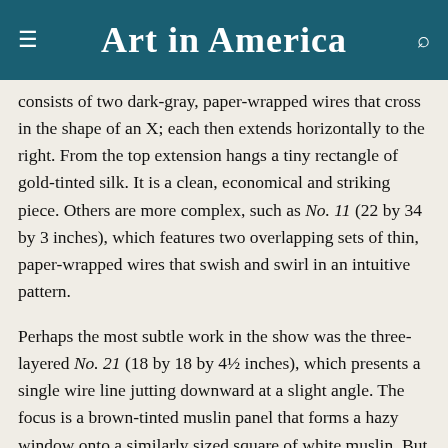Art in America
consists of two dark-gray, paper-wrapped wires that cross in the shape of an X; each then extends horizontally to the right. From the top extension hangs a tiny rectangle of gold-tinted silk. It is a clean, economical and striking piece. Others are more complex, such as No. 11 (22 by 34 by 3 inches), which features two overlapping sets of thin, paper-wrapped wires that swish and swirl in an intuitive pattern.
Perhaps the most subtle work in the show was the three-layered No. 21 (18 by 18 by 4½ inches), which presents a single wire line jutting downward at a slight angle. The focus is a brown-tinted muslin panel that forms a hazy window onto a similarly sized square of white muslin. But in what Petroff has described to me as a riff on Kazimir Malevich, the two squares are tilted very slightly in opposing directions, giving the composition an added complexity. This is just one way that Petroff uses an